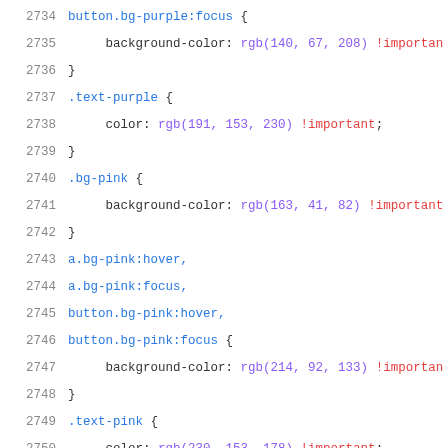CSS source code snippet showing color utility classes (lines 2734-2756)